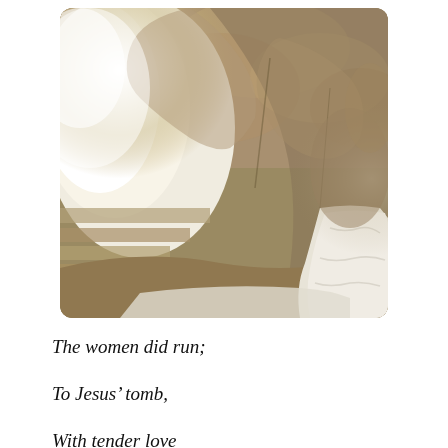[Figure (photo): Interior view of a stone tomb or cave, looking toward a bright opening on the left side. Rocky walls and ceiling of rough sandstone or limestone. Steps visible on the lower left. A white cloth or burial shroud visible on the right side and floor. Bright light streams in from the entrance.]
The women did run;
To Jesus' tomb,
With tender love